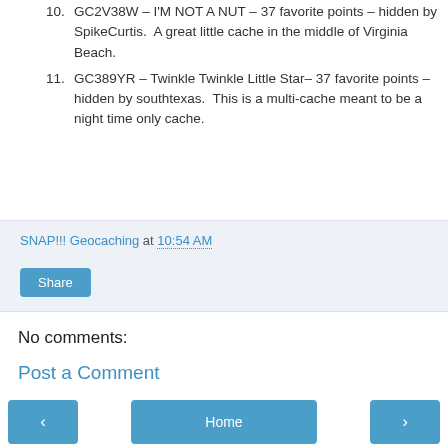10. GC2V38W – I'M NOT A NUT – 37 favorite points – hidden by SpikeCurtis.  A great little cache in the middle of Virginia Beach.
11. GC389YR – Twinkle Twinkle Little Star– 37 favorite points – hidden by southtexas.  This is a multi-cache meant to be a night time only cache.
SNAP!!! Geocaching at 10:54 AM
Share
No comments:
Post a Comment
‹  Home  ›